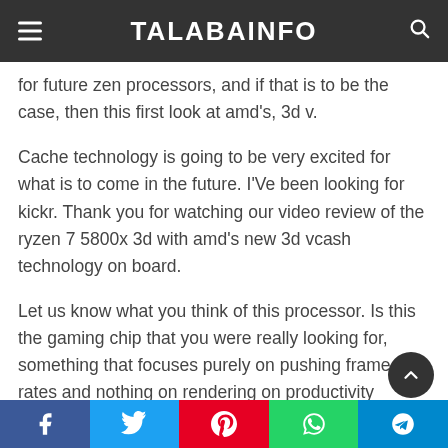TALABAINFO
for future zen processors, and if that is to be the case, then this first look at amd's, 3d v.
Cache technology is going to be very excited for what is to come in the future. I'Ve been looking for kickr. Thank you for watching our video review of the ryzen 7 5800x 3d with amd's new 3d vcash technology on board.
Let us know what you think of this processor. Is this the gaming chip that you were really looking for, something that focuses purely on pushing frame rates and nothing on rendering on productivity performance?
Share :
[Figure (other): Social share buttons: Facebook, Twitter, Pinterest, WhatsApp, Telegram]